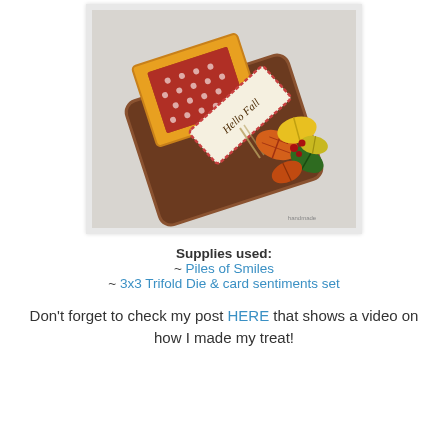[Figure (photo): A handmade fall-themed craft treat holder decorated with autumn leaves (orange, yellow, green), a 'Hello Fall' banner tag tied with twine, red polka-dot patterned paper inside a yellow frame, all on a brown scalloped card base.]
Supplies used:
~ Piles of Smiles
~ 3x3 Trifold Die & card sentiments set
Don't forget to check my post HERE that shows a video on how I made my treat!